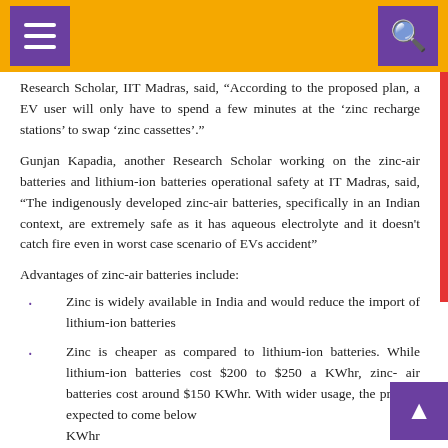Navigation header with menu and search icons
Research Scholar, IIT Madras, said, “According to the proposed plan, a EV user will only have to spend a few minutes at the ‘zinc recharge stations’ to swap ‘zinc cassettes’.”
Gunjan Kapadia, another Research Scholar working on the zinc-air batteries and lithium-ion batteries operational safety at IT Madras, said, "The indigenously developed zinc-air batteries, specifically in an Indian context, are extremely safe as it has aqueous electrolyte and it doesn't catch fire even in worst case scenario of EVs accident"
Advantages of zinc-air batteries include:
Zinc is widely available in India and would reduce the import of lithium-ion batteries
Zinc is cheaper as compared to lithium-ion batteries. While lithium-ion batteries cost $200 to $250 a KWhr, zinc- air batteries cost around $150 KWhr. With wider usage, the price is expected to come below KWhr